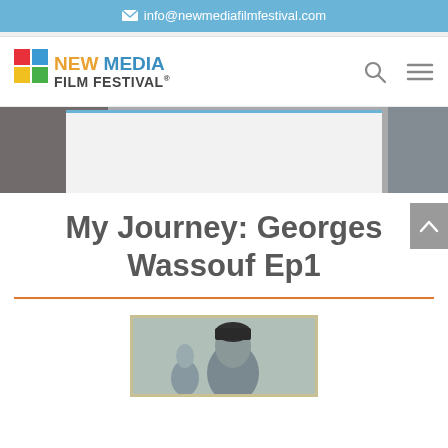info@newmediafilmfestival.com
[Figure (logo): New Media Film Festival logo with orange NEW, blue MEDIA, and dark FILM FESTIVAL text, with a small colorful square icon]
[Figure (photo): Hero banner image with grey background and white/light interior box with blue top border]
My Journey: Georges Wassouf Ep1
[Figure (photo): Black and white or sepia portrait photograph of Georges Wassouf, showing head and shoulders]